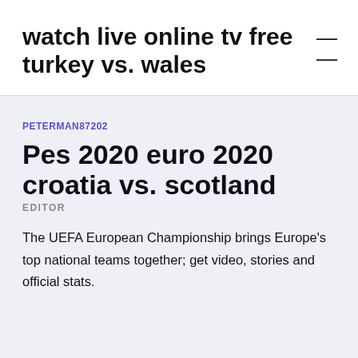watch live online tv free turkey vs. wales
PETERMAN87202
Pes 2020 euro 2020 croatia vs. scotland
EDITOR
The UEFA European Championship brings Europe's top national teams together; get video, stories and official stats.